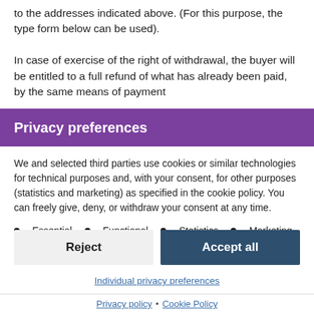to the addresses indicated above. (For this purpose, the type form below can be used).
In case of exercise of the right of withdrawal, the buyer will be entitled to a full refund of what has already been paid, by the same means of payment
Privacy preferences
We and selected third parties use cookies or similar technologies for technical purposes and, with your consent, for other purposes (statistics and marketing) as specified in the cookie policy. You can freely give, deny, or withdraw your consent at any time.
Essential
Functional
Statistics
Marketing
Reject
Accept all
Individual privacy preferences
Privacy policy • Cookie Policy